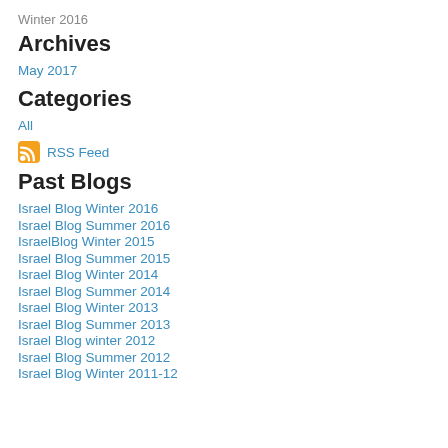Winter 2016
Archives
May 2017
Categories
All
RSS Feed
Past Blogs
Israel Blog Winter 2016
Israel Blog Summer 2016
IsraelBlog Winter 2015
Israel Blog Summer 2015
Israel Blog Winter 2014
Israel Blog Summer 2014
Israel Blog Winter 2013
Israel Blog Summer 2013
Israel Blog winter 2012
Israel Blog Summer 2012
Israel Blog Winter 2011-12